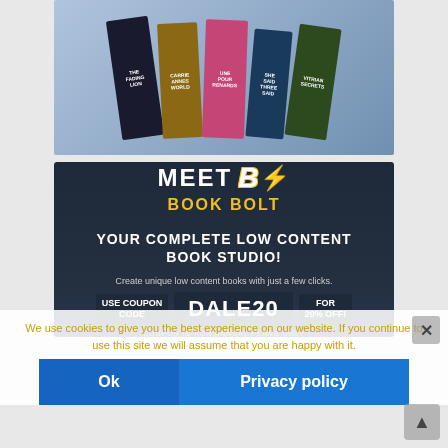[Figure (illustration): Collection of fantasy/fiction book covers fanned out on a light blue background. Visible titles include 'The Fading Lion', 'Carrie Annes World', 'Une Pour Renards', 'David B. Lyons She Said Three Said', and 'Vitrian Secrets'.]
[Figure (infographic): Dark navy banner advertisement for 'Book Bolt' - a low content book studio tool. Text reads 'MEET BOOK BOLT' with a large stylized B and lightning bolt logo, followed by 'YOUR COMPLETE LOW CONTENT BOOK STUDIO!' with a yellow underline accent. Bottom portion shows coupon code 'DALE20' for 20% off and a 'Create unique low content books with just a few clicks' tagline.]
We use cookies to give you the best experience on our website. If you continue to use this site we will assume that you are happy with it.
USE COUPON CODE  DALE20  FOR 20% OFF!
COUPON IS FOR ANNUAL PLANS ONLY
Ok
Privacy policy